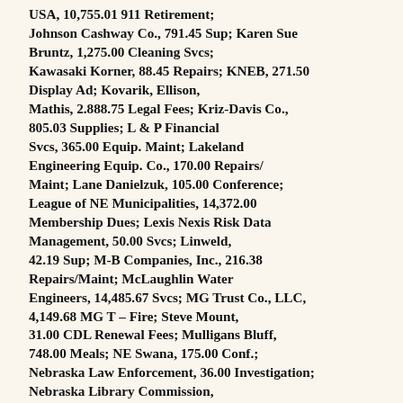USA, 10,755.01 911 Retirement; Johnson Cashway Co., 791.45 Sup; Karen Sue Bruntz, 1,275.00 Cleaning Svcs; Kawasaki Korner, 88.45 Repairs; KNEB, 271.50 Display Ad; Kovarik, Ellison, Mathis, 2.888.75 Legal Fees; Kriz-Davis Co., 805.03 Supplies; L & P Financial Svcs, 365.00 Equip. Maint; Lakeland Engineering Equip. Co., 170.00 Repairs/Maint; Lane Danielzuk, 105.00 Conference; League of NE Municipalities, 14,372.00 Membership Dues; Lexis Nexis Risk Data Management, 50.00 Svcs; Linweld, 42.19 Sup; M-B Companies, Inc., 216.38 Repairs/Maint; McLaughlin Water Engineers, 14,485.67 Svcs; MG Trust Co., LLC, 4,149.68 MG T – Fire; Steve Mount, 31.00 CDL Renewal Fees; Mulligans Bluff, 748.00 Meals; NE Swana, 175.00 Conf.; Nebraska Law Enforcement, 36.00 Investigation; Nebraska Library Commission, 6.48 Catexpress Excess Usage; Nebraskaland Tire, 407.21 Repairs/Maint; Nike USA, Inc., 160.83 Merchandise; NLA Public Library Trustee, 303.00 Conf; Norfolk Lodge & Suites, 151.98 Travel Exp; Northwest Pipe Fittings, Inc., 121.55 Sup;